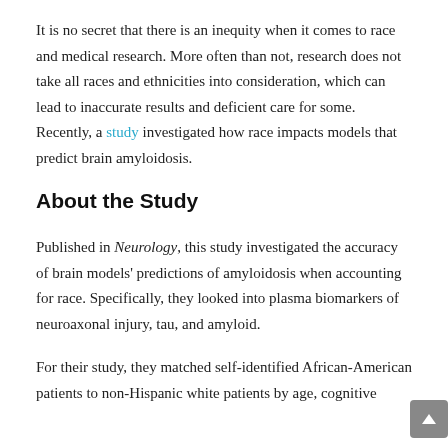It is no secret that there is an inequity when it comes to race and medical research. More often than not, research does not take all races and ethnicities into consideration, which can lead to inaccurate results and deficient care for some. Recently, a study investigated how race impacts models that predict brain amyloidosis.
About the Study
Published in Neurology, this study investigated the accuracy of brain models' predictions of amyloidosis when accounting for race. Specifically, they looked into plasma biomarkers of neuroaxonal injury, tau, and amyloid.
For their study, they matched self-identified African-American patients to non-Hispanic white patients by age, cognitive